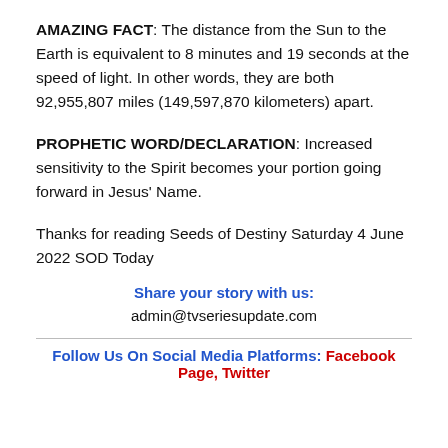AMAZING FACT: The distance from the Sun to the Earth is equivalent to 8 minutes and 19 seconds at the speed of light. In other words, they are both 92,955,807 miles (149,597,870 kilometers) apart.
PROPHETIC WORD/DECLARATION: Increased sensitivity to the Spirit becomes your portion going forward in Jesus' Name.
Thanks for reading Seeds of Destiny Saturday 4 June 2022 SOD Today
Share your story with us:
admin@tvseriesupdate.com
Follow Us On Social Media Platforms: Facebook Page, Twitter